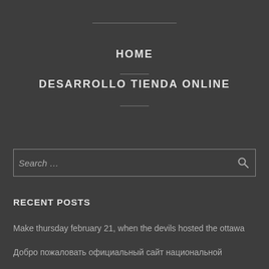HOME
DESARROLLO TIENDA ONLINE
Search …
RECENT POSTS
Make thursday february 21, when the devils hosted the ottawa
Добро пожаловать официальный сайт национальной